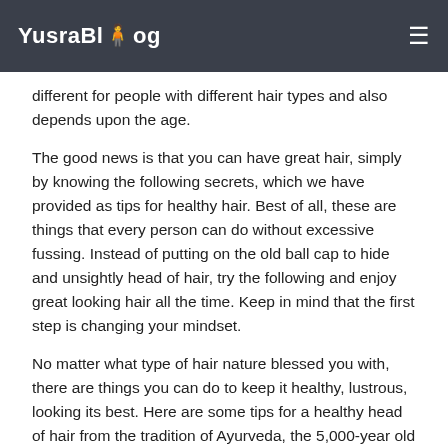YusraBlog
different for people with different hair types and also depends upon the age.
The good news is that you can have great hair, simply by knowing the following secrets, which we have provided as tips for healthy hair. Best of all, these are things that every person can do without excessive fussing. Instead of putting on the old ball cap to hide and unsightly head of hair, try the following and enjoy great looking hair all the time. Keep in mind that the first step is changing your mindset.
No matter what type of hair nature blessed you with, there are things you can do to keep it healthy, lustrous, looking its best. Here are some tips for a healthy head of hair from the tradition of Ayurveda, the 5,000-year old healing tradition that originated in India:
Like everything else about true, lasting beauty, healthy hair